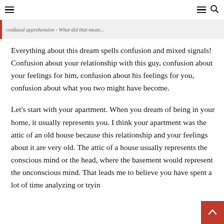≡  ≡ 🔍
confused apprehension - What did that mean...
Everything about this dream spells confusion and mixed signals! Confusion about your relationship with this guy, confusion about your feelings for him, confusion about his feelings for you, confusion about what you two might have become.
Let's start with your apartment. When you dream of being in your home, it usually represents you. I think your apartment was the attic of an old house because this relationship and your feelings about it are very old. The attic of a house usually represents the conscious mind or the head, where the basement would represent the unconscious mind. That leads me to believe you have spent a lot of time analyzing or trying